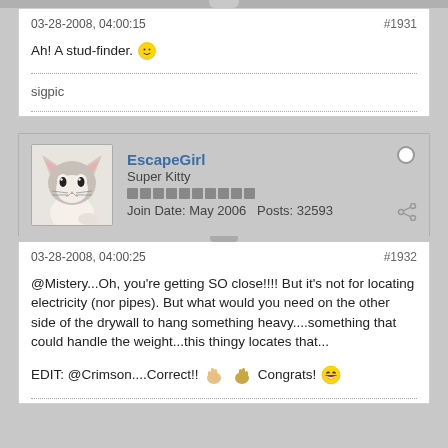03-28-2008, 04:00:15
#1931
Ah! A stud-finder. 🙂
sigpic
EscapeGirl
Super Kitty
Join Date: May 2006   Posts: 32593
03-28-2008, 04:00:25
#1932
@Mistery...Oh, you're getting SO close!!!! But it's not for locating electricity (nor pipes). But what would you need on the other side of the drywall to hang something heavy....something that could handle the weight...this thingy locates that...
EDIT: @Crimson....Correct!!  Congrats!